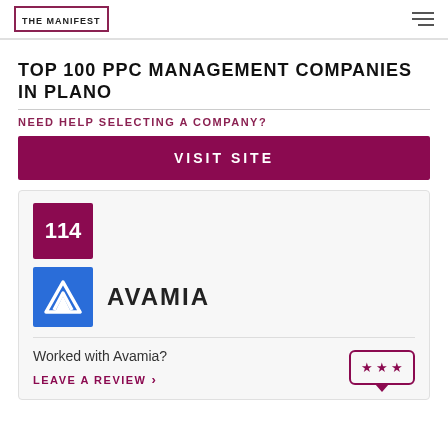THE MANIFEST
TOP 100 PPC MANAGEMENT COMPANIES IN PLANO
NEED HELP SELECTING A COMPANY?
VISIT SITE
114
[Figure (logo): Avamia company logo — blue square with white upward chevron/arrow mark]
AVAMIA
Worked with Avamia?
LEAVE A REVIEW >